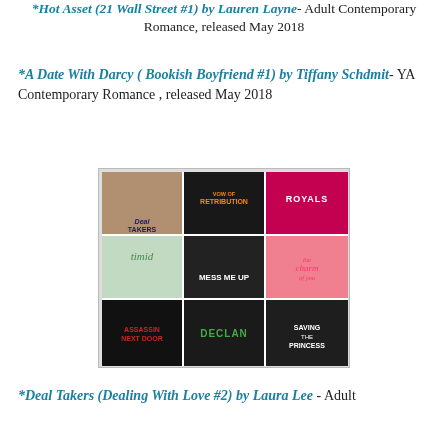*Hot Asset (21 Wall Street #1) by Lauren Layne- Adult Contemporary Romance, released May 2018
*A Date With Darcy ( Bookish Boyfriend #1) by Tiffany Schdmit- YA Contemporary Romance , released May 2018
[Figure (photo): 3x3 collage of book covers including Deal Takers, Vow of Retribution, Royals, Timid, Mess Me Up, The Charm of You, Assassin Next Door, Declan, and Saving the Princess]
*Deal Takers (Dealing With Love #2) by Laura Lee - Adult Contemporary romance, released July 2018